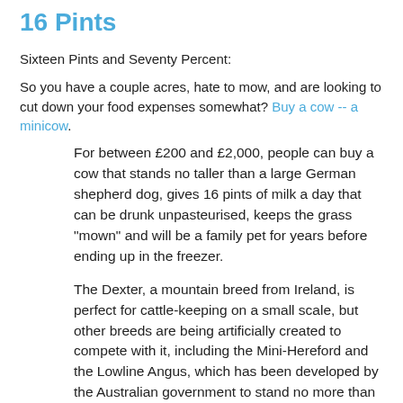16 Pints
Sixteen Pints and Seventy Percent:
So you have a couple acres, hate to mow, and are looking to cut down your food expenses somewhat? Buy a cow -- a minicow.
For between £200 and £2,000, people can buy a cow that stands no taller than a large German shepherd dog, gives 16 pints of milk a day that can be drunk unpasteurised, keeps the grass "mown" and will be a family pet for years before ending up in the freezer.
The Dexter, a mountain breed from Ireland, is perfect for cattle-keeping on a small scale, but other breeds are being artificially created to compete with it, including the Mini-Hereford and the Lowline Angus, which has been developed by the Australian government to stand no more than 39in high but produce 70% of the steak of a cow twice its size.